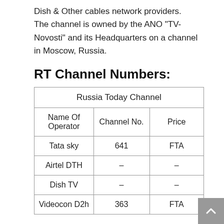Dish & Other cables network providers. The channel is owned by the ANO “TV-Novosti” and its Headquarters on a channel in Moscow, Russia.
RT Channel Numbers:
| Russia Today Channel |  |  |
| --- | --- | --- |
| Name Of Operator | Channel No. | Price |
| Tata sky | 641 | FTA |
| Airtel DTH | – | – |
| Dish TV | – | – |
| Videocon D2h | 363 | FTA |